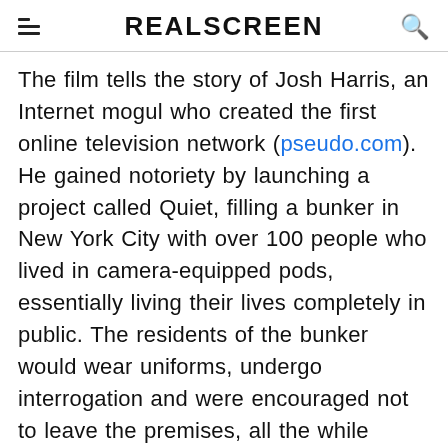REALSCREEN
The film tells the story of Josh Harris, an Internet mogul who created the first online television network (pseudo.com). He gained notoriety by launching a project called Quiet, filling a bunker in New York City with over 100 people who lived in camera-equipped pods, essentially living their lives completely in public. The residents of the bunker would wear uniforms, undergo interrogation and were encouraged not to leave the premises, all the while playing it up for the camera. The project was deemed by MOMA as the most important art event since Truman Capote's